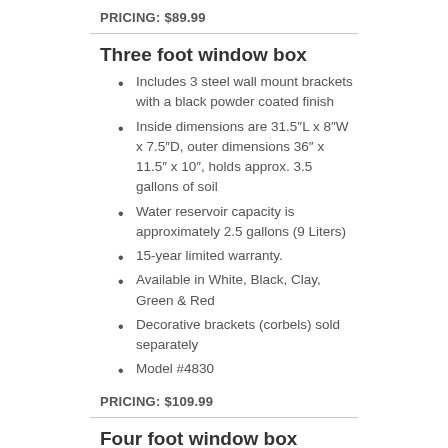PRICING: $89.99
Three foot window box
Includes 3 steel wall mount brackets with a black powder coated finish
Inside dimensions are 31.5″L x 8″W x 7.5″D, outer dimensions 36″ x 11.5″ x 10″, holds approx. 3.5 gallons of soil
Water reservoir capacity is approximately 2.5 gallons (9 Liters)
15-year limited warranty.
Available in White, Black, Clay, Green & Red
Decorative brackets (corbels) sold separately
Model #4830
PRICING: $109.99
Four foot window box